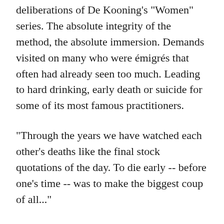deliberations of De Kooning's "Women" series. The absolute integrity of the method, the absolute immersion. Demands visited on many who were émigrés that often had already seen too much. Leading to hard drinking, early death or suicide for some of its most famous practitioners.
"Through the years we have watched each other's deaths like the final stock quotations of the day. To die early -- before one's time -- was to make the biggest coup of all..."
Morton Feldman